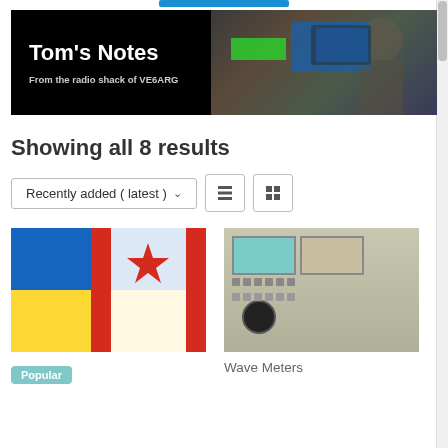[Figure (photo): Banner image: Tom's Notes - From the radio shack of VE6ARG, with a person operating ham radio equipment]
Showing all 8 results
Recently added ( latest ) dropdown with list/grid view toggle buttons
[Figure (photo): Ukrainian and Canadian flags overlapping]
[Figure (photo): Wave meters / radio test equipment panel]
Popular
Wave Meters